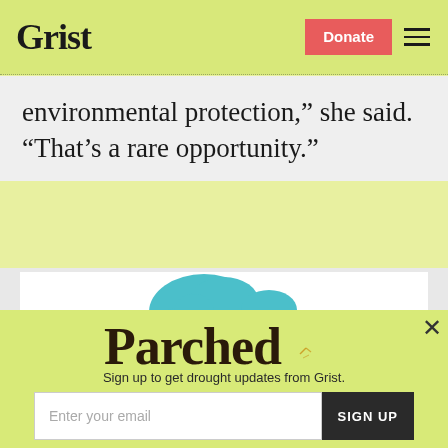Grist | Donate
environmental protection,” she said. “That’s a rare opportunity.”
[Figure (illustration): Teal illustrated blob shape resembling a cloud or landmass]
Parched
Sign up to get drought updates from Grist.
Enter your email | SIGN UP
No thanks